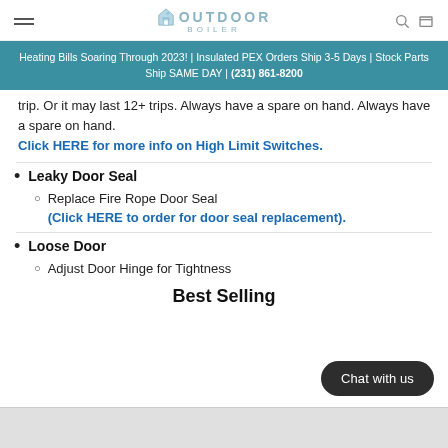OUTDOOR BOILER
Heating Bills Soaring Through 2023! | Insulated PEX Orders Ship 3-5 Days | Stock Parts Ship SAME DAY | (231) 861-8200
trip. Or it may last 12+ trips. Always have a spare on hand. Always have a spare on hand. Click HERE for more info on High Limit Switches.
Leaky Door Seal
Replace Fire Rope Door Seal (Click HERE to order for door seal replacement).
Loose Door
Adjust Door Hinge for Tightness
Best Selling